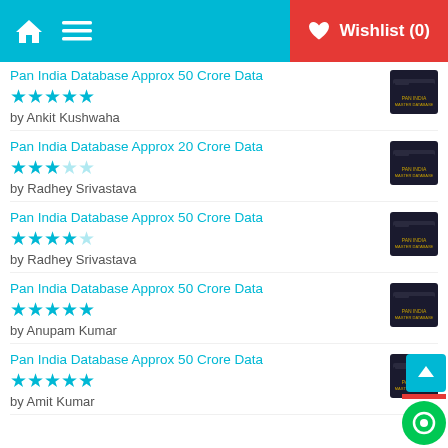Wishlist (0)
Pan India Database Approx 50 Crore Data — ★★★★★ — by Ankit Kushwaha
Pan India Database Approx 20 Crore Data — ★★★☆☆ — by Radhey Srivastava
Pan India Database Approx 50 Crore Data — ★★★★☆ — by Radhey Srivastava
Pan India Database Approx 50 Crore Data — ★★★★★ — by Anupam Kumar
Pan India Database Approx 50 Crore Data — ★★★★★ — by Amit Kumar